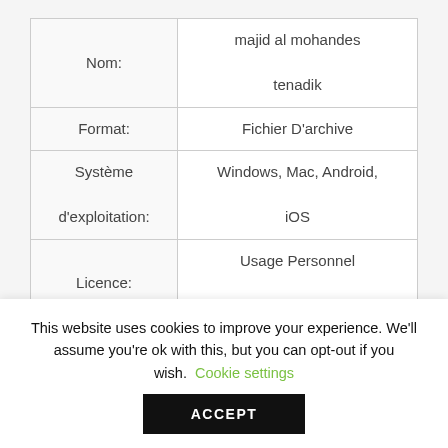|  |  |
| --- | --- |
| Nom: | majid al mohandes tenadik |
| Format: | Fichier D'archive |
| Système d'exploitation: | Windows, Mac, Android, iOS |
| Licence: | Usage Personnel Seulement |
| Taille: | 5.67 MBytes |
This website uses cookies to improve your experience. We'll assume you're ok with this, but you can opt-out if you wish. Cookie settings
ACCEPT